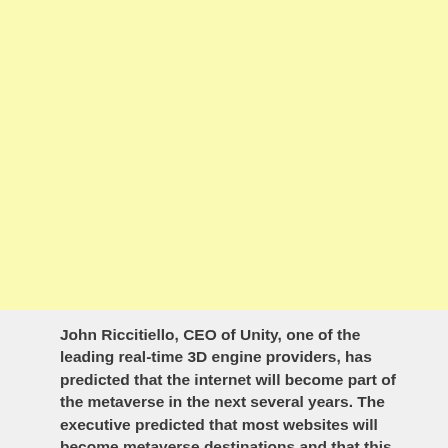[Figure (other): Large light yellow rectangular block occupying the top portion of the page]
John Riccitiello, CEO of Unity, one of the leading real-time 3D engine providers, has predicted that the internet will become part of the metaverse in the next several years. The executive predicted that most websites will become metaverse destinations and that this change will be mostly completed by the year